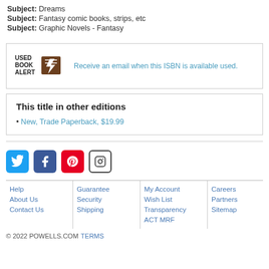Subject: Dreams
Subject: Fantasy comic books, strips, etc
Subject: Graphic Novels - Fantasy
[Figure (infographic): Used Book Alert box with logo and link: Receive an email when this ISBN is available used.]
This title in other editions
New, Trade Paperback, $19.99
[Figure (infographic): Social media icons: Twitter, Facebook, Pinterest, Instagram]
Help | About Us | Contact Us | Guarantee | Security | Shipping | My Account | Wish List | Transparency | ACT MRF | Careers | Partners | Sitemap | © 2022 POWELLS.COM TERMS